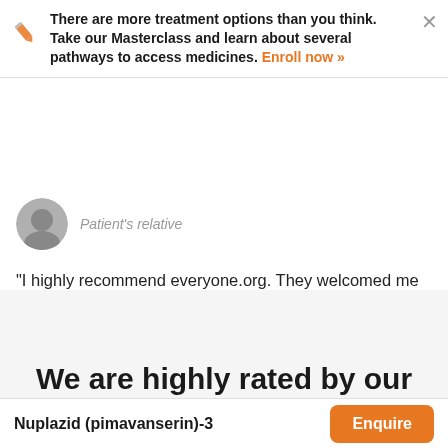There are more treatment options than you think. Take our Masterclass and learn about several pathways to access medicines. Enroll now »
[Figure (photo): Circular avatar photo of a person, partially visible, with label 'Patient's relative']
Patient's relative
“I highly recommend everyone.org. They welcomed me with open arms when I went to their office in Amsterdam. I was in a very difficult situation with a tight schedule, and their amazing team members...”
We are highly rated by our
Nuplazid (pimavanserin)-3
Enquire